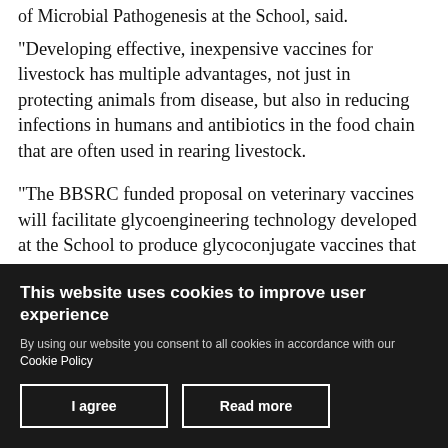of Microbial Pathogenesis at the School, said.
"Developing effective, inexpensive vaccines for livestock has multiple advantages, not just in protecting animals from disease, but also in reducing infections in humans and antibiotics in the food chain that are often used in rearing livestock.
"The BBSRC funded proposal on veterinary vaccines will facilitate glycoengineering technology developed at the School to produce glycoconjugate vaccines that will simultaneously protect poultry against clostridia,
This website uses cookies to improve user experience
By using our website you consent to all cookies in accordance with our Cookie Policy
I agree
Read more